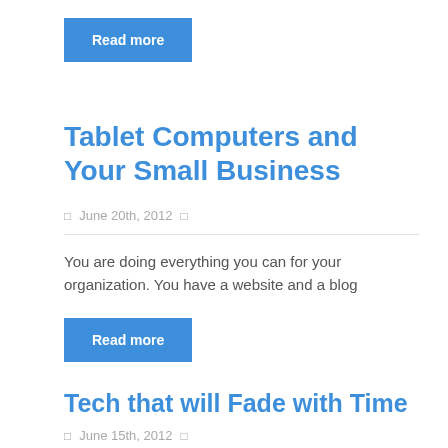Read more
Tablet Computers and Your Small Business
June 20th, 2012
You are doing everything you can for your organization. You have a website and a blog
Read more
Tech that will Fade with Time
June 15th, 2012